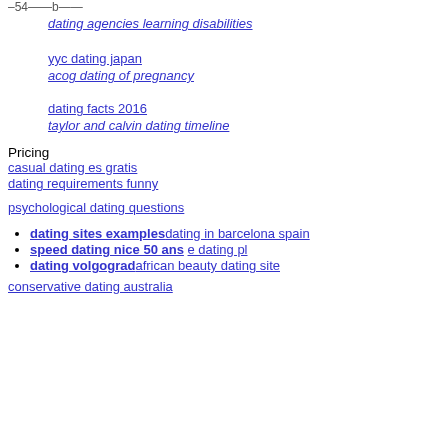–54——b——
dating agencies learning disabilities
yyc dating japan
acog dating of pregnancy
dating facts 2016
taylor and calvin dating timeline
Pricing
casual dating es gratis
dating requirements funny
psychological dating questions
dating sites examples dating in barcelona spain
speed dating nice 50 ans e dating pl
dating volgograd african beauty dating site
conservative dating australia